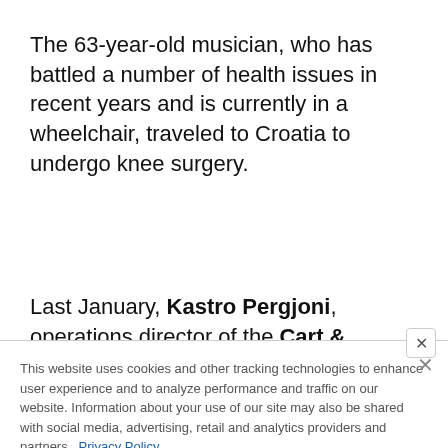The 63-year-old musician, who has battled a number of health issues in recent years and is currently in a wheelchair, traveled to Croatia to undergo knee surgery.
Last January, Kastro Pergjoni, operations director of the Cart & Horses pub in Stratford, London, England where IRON MAIDEN made its
This website uses cookies and other tracking technologies to enhance user experience and to analyze performance and traffic on our website. Information about your use of our site may also be shared with social media, advertising, retail and analytics providers and partners. Privacy Policy
[Figure (infographic): Lamb of God advertisement banner for September 14 Chesapeake Employers Insurance Arena concert]